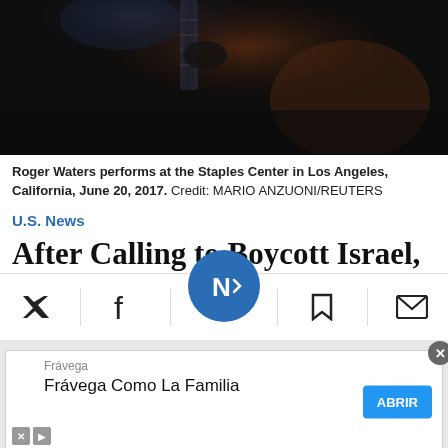[Figure (photo): Roger Waters performing on stage, dark silhouette against stage lighting, playing guitar]
Roger Waters performs at the Staples Center in Los Angeles, California, June 20, 2017.  Credit: MARIO ANZUONI/REUTERS
U.S. News
After Calling to Boycott Israel, Roger Waters' N.Y. Concert May Be Cancelled
Nassau County lawmaker Howard Kopel asked county attorney to see if the concert venue has to comply with the a…DS legislation